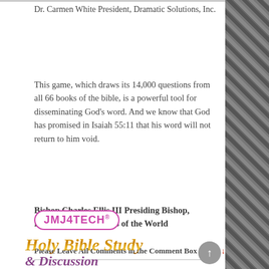Dr. Carmen White President, Dramatic Solutions, Inc.
This game, which draws its 14,000 questions from all 66 books of the bible, is a powerful tool for disseminating God's word. And we know that God has promised in Isaiah 55:11 that his word will not return to him void.
Bishop Charles Ellis III Presiding Bishop, Pentecostal Assemblies of the World
Please Leave All Comments in the Comment Box Below ↓
[Figure (logo): JMJ4TECH® logo in pink/magenta rounded rectangle border]
[Figure (logo): Holy Bible Study & Discussion decorative text logo in gold and purple]